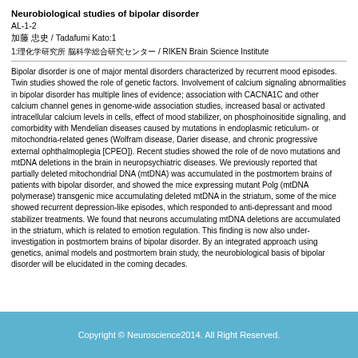Neurobiological studies of bipolar disorder
AL-1-2
加藤 忠史 / Tadafumi Kato:1
1:理化学研究所 脳科学総合研究センター / RIKEN Brain Science Institute
Bipolar disorder is one of major mental disorders characterized by recurrent mood episodes. Twin studies showed the role of genetic factors. Involvement of calcium signaling abnormalities in bipolar disorder has multiple lines of evidence; association with CACNA1C and other calcium channel genes in genome-wide association studies, increased basal or activated intracellular calcium levels in cells, effect of mood stabilizer, on phosphoinositide signaling, and comorbidity with Mendelian diseases caused by mutations in endoplasmic reticulum- or mitochondria-related genes (Wolfram disease, Darier disease, and chronic progressive external ophthalmoplegia [CPEO]). Recent studies showed the role of de novo mutations and mtDNA deletions in the brain in neuropsychiatric diseases. We previously reported that partially deleted mitochondrial DNA (mtDNA) was accumulated in the postmortem brains of patients with bipolar disorder, and showed the mice expressing mutant Polg (mtDNA polymerase) transgenic mice accumulating deleted mtDNA in the striatum, some of the mice showed recurrent depression-like episodes, which responded to anti-depressant and mood stabilizer treatments. We found that neurons accumulating mtDNA deletions are accumulated in the striatum, which is related to emotion regulation. This finding is now also under- investigation in postmortem brains of bipolar disorder. By an integrated approach using genetics, animal models and postmortem brain study, the neurobiological basis of bipolar disorder will be elucidated in the coming decades.
Copyright © Neuroscience2014. All Right Reserved.